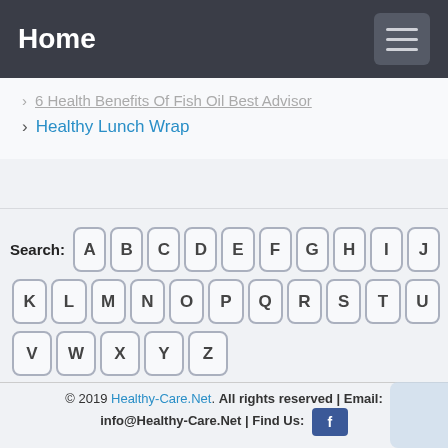Home
6 Health Benefits Of Fish Oil Best Advisor
Healthy Lunch Wrap
[Figure (other): Alphabetical search keyboard widget showing letters A-Z as clickable keyboard buttons, with a 'Search:' label]
© 2019 Healthy-Care.Net. All rights reserved | Email: info@Healthy-Care.Net | Find Us: [Facebook icon]